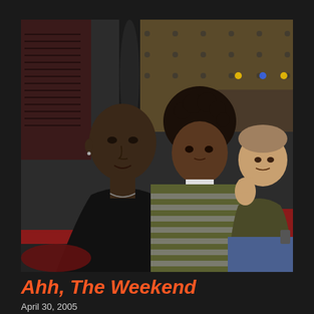[Figure (photo): Indoor nightclub or bar scene with three men. The man on the left is tall, bald, and wearing a black t-shirt. The man in the center has curly dark hair and wears a green and white striped shirt. The man on the right wears a dark olive jacket and blue jeans, with his hand raised near his face making a gesture. The background shows dark interior walls, lighting, and seating.]
Ahh, The Weekend
April 30, 2005